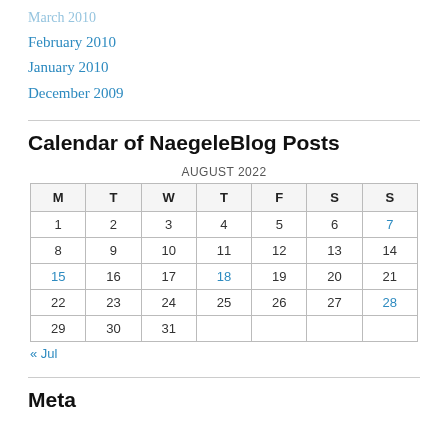March 2010
February 2010
January 2010
December 2009
Calendar of NaegeleBlog Posts
| M | T | W | T | F | S | S |
| --- | --- | --- | --- | --- | --- | --- |
| 1 | 2 | 3 | 4 | 5 | 6 | 7 |
| 8 | 9 | 10 | 11 | 12 | 13 | 14 |
| 15 | 16 | 17 | 18 | 19 | 20 | 21 |
| 22 | 23 | 24 | 25 | 26 | 27 | 28 |
| 29 | 30 | 31 |  |  |  |  |
« Jul
Meta